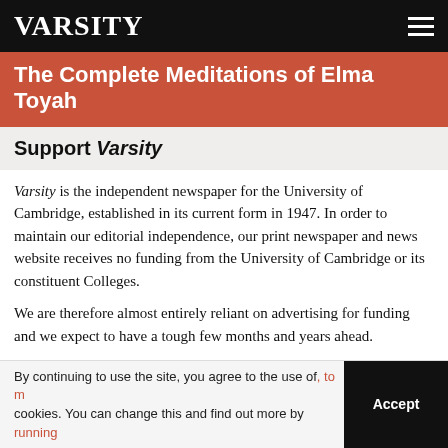VARSITY
The Complete Meditations of Elma Toyah
Support Varsity
Varsity is the independent newspaper for the University of Cambridge, established in its current form in 1947. In order to maintain our editorial independence, our print newspaper and news website receives no funding from the University of Cambridge or its constituent Colleges.
We are therefore almost entirely reliant on advertising for funding and we expect to have a tough few months and years ahead.
In spite of this situation, we are going to look at inventive ways to look at serving our readership with digital content and of course in print too!
By continuing to use the site, you agree to the use of cookies. You can change this and find out more by running